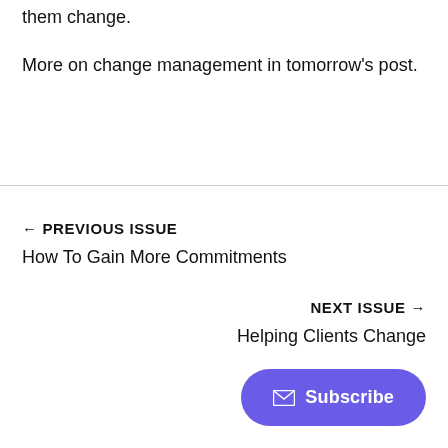understand your client, build consensus, and help them change.
More on change management in tomorrow's post.
← PREVIOUS ISSUE
How To Gain More Commitments
NEXT ISSUE →
Helping Clients Change
Subscribe